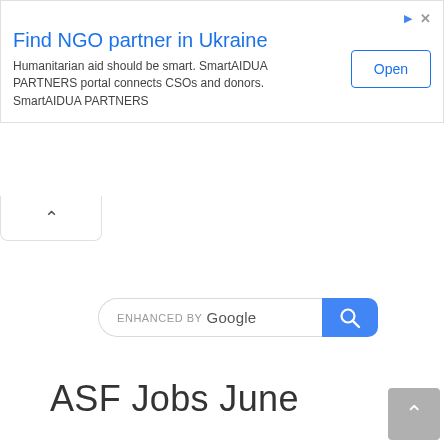[Figure (screenshot): Online advertisement banner for SmartAIDUA PARTNERS NGO portal with title 'Find NGO partner in Ukraine', body text, and an 'Open' button]
[Figure (screenshot): Collapse/minimize tab button with upward chevron arrow]
[Figure (screenshot): Google custom search widget with 'ENHANCED BY Google' text and blue search button]
ASF Jobs June
[Figure (screenshot): Back to top button with upward chevron arrow, grey background]